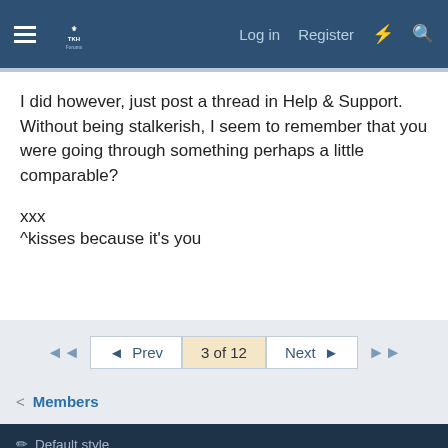Log in  Register
I did however, just post a thread in Help & Support. Without being stalkerish, I seem to remember that you were going through something perhaps a little comparable?

xxx
^kisses because it's you
◄◄  ◄ Prev  3 of 12  Next ►  ►►
< Members
✏ Default style
Contact us  Terms and rules  Privacy policy  Help  Home
Community platform by XenForo® © 2010-2022 XenForo Ltd.
Awards System by AddonFlare - Premium XF2 Addons
Xenforo Theme by © XenTR